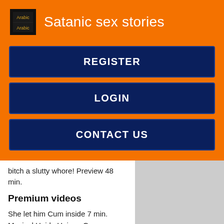Satanic sex stories
REGISTER
LOGIN
CONTACT US
bitch a slutty whore! Preview 48 min.
Premium videos
She let him Cum inside 7 min. Musical Haide Unique Can you read my mind hechizo3x.